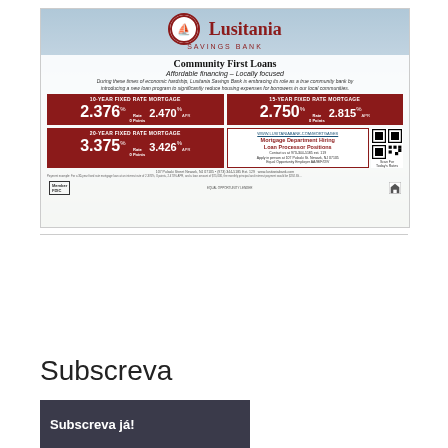[Figure (infographic): Lusitania Savings Bank advertisement for Community First Loans. Shows fixed rate mortgages: 10-Year Fixed Rate Mortgage 2.376% Rate 0 Points 2.470% APR; 15-Year Fixed Rate Mortgage 2.750% Rate 0 Points 2.815% APR; 20-Year Fixed Rate Mortgage 3.375% Rate 0 Points 3.426% APR. Includes mortgage hiring info and QR code. FDIC and Equal Housing Lender logos shown.]
Subscreva
[Figure (photo): Dark image with text 'Subscreva já!' in white]